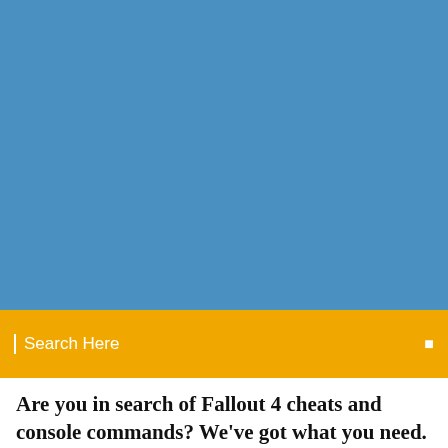[Figure (photo): Blue banner/header image at top of webpage]
Search Here
Are you in search of Fallout 4 cheats and console commands? We've got what you need. By using our Trainer and mods you will be able to unlock some really fun things in fallout 4.
Amazon.com: Fallout 4 Game of The Year Edition - Xbox One: Bethesda Softworks Inc: Video Games. Turn on 1-click ordering With all the latest gameplay updates, graphical enhancements, the ability